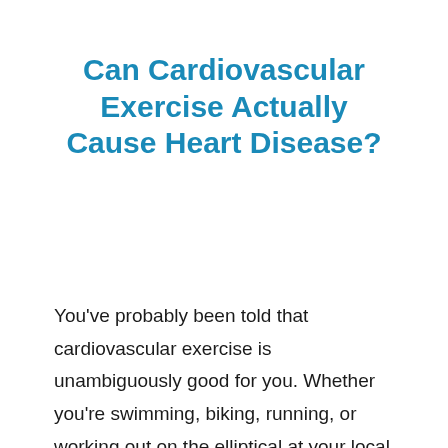Can Cardiovascular Exercise Actually Cause Heart Disease?
You've probably been told that cardiovascular exercise is unambiguously good for you. Whether you're swimming, biking, running, or working out on the elliptical at your local gym, cardio is the best kind of exercise